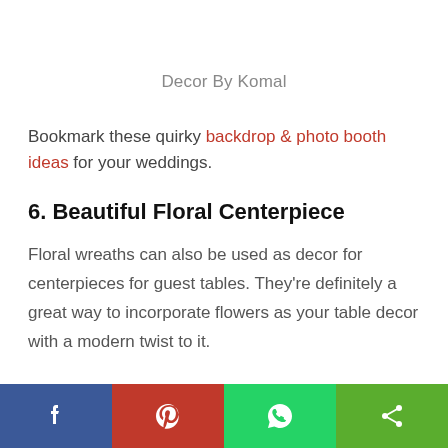Decor By Komal
Bookmark these quirky backdrop & photo booth ideas for your weddings.
6. Beautiful Floral Centerpiece
Floral wreaths can also be used as decor for centerpieces for guest tables. They're definitely a great way to incorporate flowers as your table decor with a modern twist to it.
[Figure (other): Social media share bar with Facebook, Pinterest, WhatsApp, and share buttons]